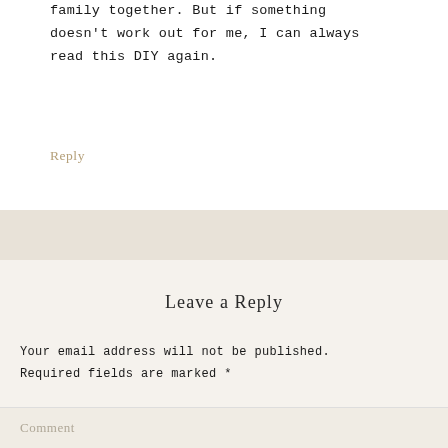family together. But if something doesn't work out for me, I can always read this DIY again.
Reply
Leave a Reply
Your email address will not be published. Required fields are marked *
Comment